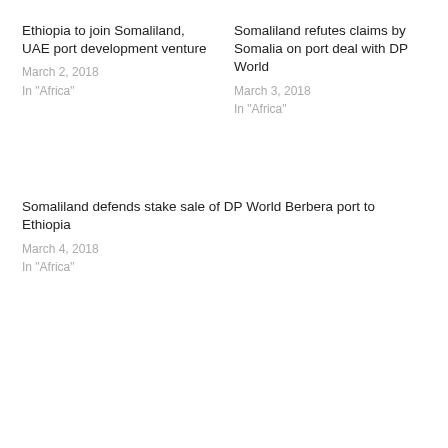Ethiopia to join Somaliland, UAE port development venture
March 2, 2018
In "Africa"
Somaliland refutes claims by Somalia on port deal with DP World
March 3, 2018
In "Africa"
Somaliland defends stake sale of DP World Berbera port to Ethiopia
March 4, 2018
In "Africa"